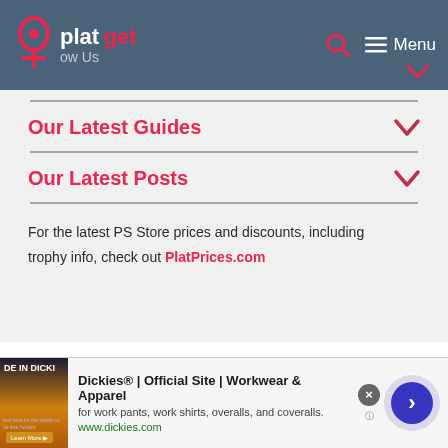platget | Follow Us | Menu
Our Latest Guides
Our Latest Posts
For the latest PS Store prices and discounts, including trophy info, check out PlatPrices.com
Destruction AllStars
[Figure (screenshot): Advertisement banner for Dickies Official Site - Workwear & Apparel]